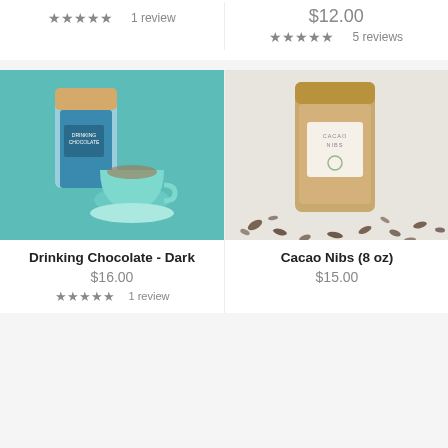1 review
$12.00
5 reviews
[Figure (photo): Drinking Chocolate - Dark product photo: a blue/teal bag labeled 'Drinking Chocolate' next to a teal cup of hot chocolate on a saucer, on a teal background]
[Figure (photo): Cacao Nibs (8 oz) product photo: a brown kraft paper bag labeled 'Cacao Nibs' with cacao nibs scattered around it on a white/grey background]
Drinking Chocolate - Dark
$16.00
1 review
Cacao Nibs (8 oz)
$15.00